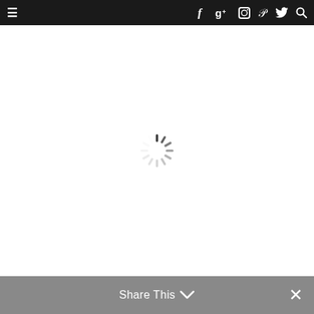≡  f  g+  ○  p  𝕏  🔍
[Figure (other): Loading spinner (animated circular spinner) centered in white content area]
Share This ∨  ✕